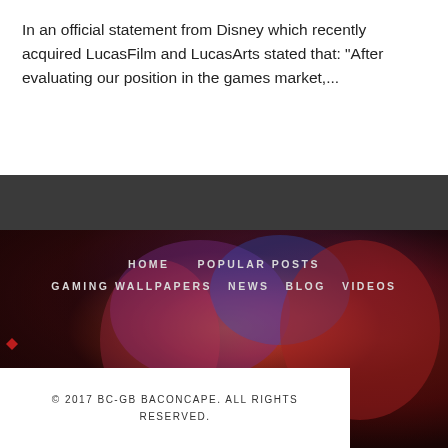In an official statement from Disney which recently acquired LucasFilm and LucasArts stated that: “After evaluating our position in the games market,...
[Figure (illustration): Website footer with colorful gaming-themed background image (psychedelic monster/creature art in reds, blues, purples), navigation links overlaid: HOME, POPULAR POSTS, GAMING WALLPAPERS, NEWS, BLOG, VIDEOS, with copyright text © 2020 BC-GB BaconCape - CSGO News, Tips and Blogs. All right reserved.]
© 2017 BC-GB BACONCAPE. ALL RIGHTS RESERVED.